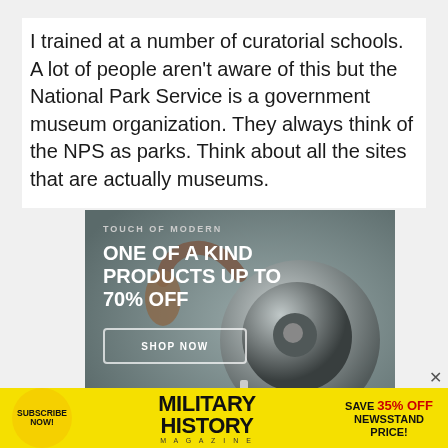I trained at a number of curatorial schools. A lot of people aren't aware of this but the National Park Service is a government museum organization. They always think of the NPS as parks. Think about all the sites that are actually museums.
[Figure (photo): Touch of Modern advertisement showing headphones. Text reads: TOUCH OF MODERN / ONE OF A KIND PRODUCTS UP TO 70% OFF / SHOP NOW button.]
[Figure (photo): Military History Magazine subscription ad on yellow background. Text: SUBSCRIBE NOW! / MILITARY HISTORY MAGAZINE / SAVE 35% OFF NEWSSTAND PRICE!]